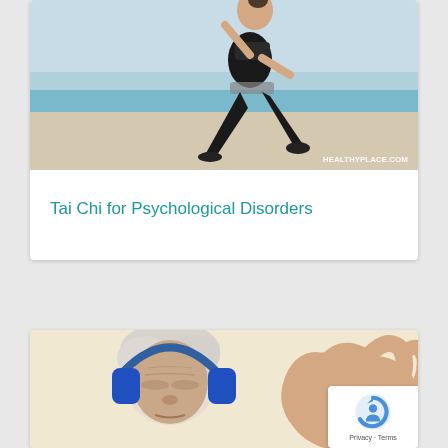[Figure (photo): Woman in black athletic wear doing a lunge/tai chi pose on a beach with blue ocean in background. HealthyPlace.com watermark in bottom right.]
Tai Chi for Psychological Disorders
[Figure (photo): Elderly person with white hair wearing blue headphones with eyes closed on a beige background, and a hand making an OK gesture visible on the right side.]